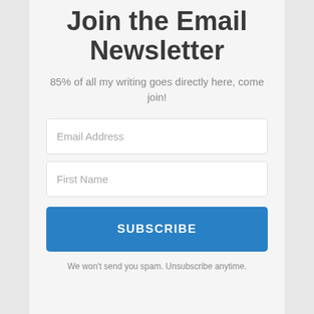Join the Email Newsletter
85% of all my writing goes directly here, come join!
Email Address
First Name
SUBSCRIBE
We won't send you spam. Unsubscribe anytime.